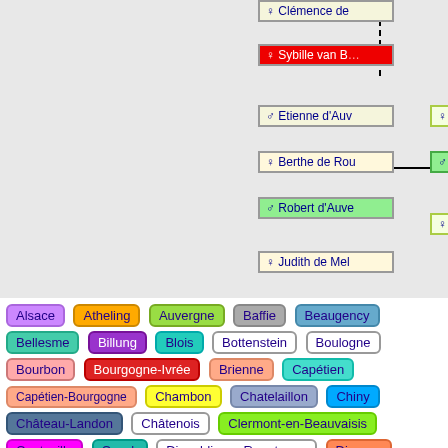[Figure (organizational-chart): Partial genealogy/family tree chart showing nodes: Clémence de, Sybille van B (red), Etienne d'Auv, Berthe de Rou, Robert d'Auve, Judith de Mel, Foy de Gévau (yellow-green), Guillaume d'A (green), Emma de Sici (yellow-green), Guil (green), Rob (green). Numbered boxes 1, 2, 3 at bottom. Connected with lines.]
[Figure (infographic): Color-coded tag cloud of dynasty/house names: Alsace (purple), Atheling (orange), Auvergne (green), Baffie (gray), Beaugency (light blue), Bellesme (teal), Billung (violet), Blois (teal2), Bottenstein (blue outline), Boulogne (blue outline), Bourbon (salmon), Bourgogne-Ivrée (red), Brienne (salmon2), Capétien (cyan), Capétien-Bourgogne (salmon), Chambon (yellow), Chatelaillon (steelblue), Chiny (cyan/blue), Château-Landon (darksteelblue), Châtenois (outline), Clermont-en-Beauvaisis (lgreen), Conteville (magenta), Cuyck (teal2), Diepoldinger-Rapotonen (outline), Diessen (orange-red), Dunkeld (gold), Este (outline), Flandre (gray), Formbach (formbach), Gerulfing (tan), Hainaut (violet), Hauteville (gray), Horburg (orange)]